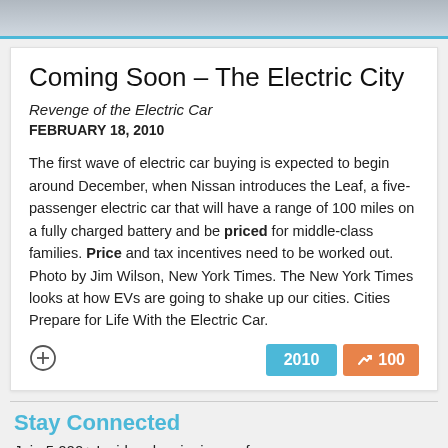[Figure (photo): Top banner image area, partially visible photo]
Coming Soon – The Electric City
Revenge of the Electric Car
FEBRUARY 18, 2010
The first wave of electric car buying is expected to begin around December, when Nissan introduces the Leaf, a five-passenger electric car that will have a range of 100 miles on a fully charged battery and be priced for middle-class families. Price and tax incentives need to be worked out. Photo by Jim Wilson, New York Times. The New York Times looks at how EVs are going to shake up our cities. Cities Prepare for Life With the Electric Car.
Stay Connected
Join 5,000+ Insiders by signing up for our